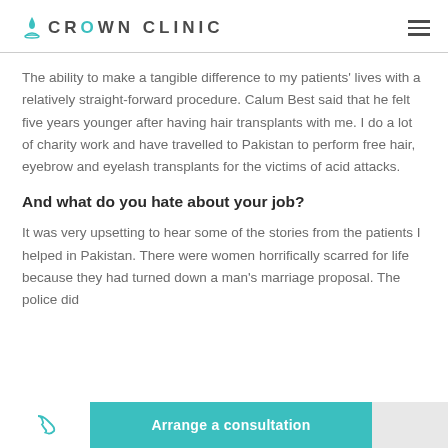CROWN CLINIC
The ability to make a tangible difference to my patients' lives with a relatively straight-forward procedure. Calum Best said that he felt five years younger after having hair transplants with me. I do a lot of charity work and have travelled to Pakistan to perform free hair, eyebrow and eyelash transplants for the victims of acid attacks.
And what do you hate about your job?
It was very upsetting to hear some of the stories from the patients I helped in Pakistan. There were women horrifically scarred for life because they had turned down a man's marriage proposal. The police did